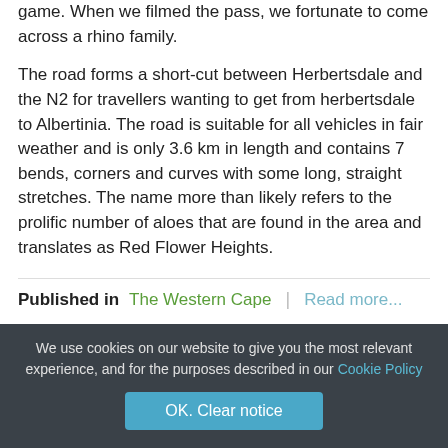game. When we filmed the pass, we fortunate to come across a rhino family.
The road forms a short-cut between Herbertsdale and the N2 for travellers wanting to get from herbertsdale to Albertinia. The road is suitable for all vehicles in fair weather and is only 3.6 km in length and contains 7 bends, corners and curves with some long, straight stretches. The name more than likely refers to the prolific number of aloes that are found in the area and translates as Red Flower Heights.
Published in  The Western Cape  |  Read more...
We use cookies on our website to give you the most relevant experience, and for the purposes described in our Cookie Policy
OK. Clear notice